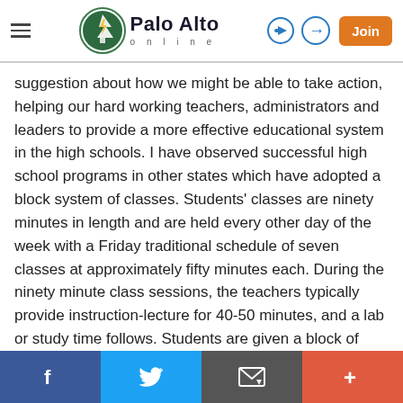Palo Alto online
suggestion about how we might be able to take action, helping our hard working teachers, administrators and leaders to provide a more effective educational system in the high schools. I have observed successful high school programs in other states which have adopted a block system of classes. Students' classes are ninety minutes in length and are held every other day of the week with a Friday traditional schedule of seven classes at approximately fifty minutes each. During the ninety minute class sessions, the teachers typically provide instruction-lecture for 40-50 minutes, and a lab or study time follows. Students are given a block of time for their homework, have time for in-class help if needed and don't have homework in each class
Facebook | Twitter | Email | More